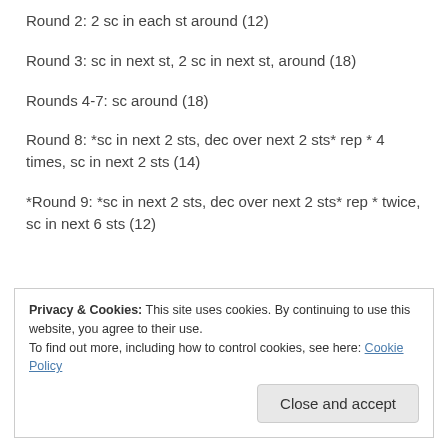Round 2: 2 sc in each st around (12)
Round 3: sc in next st, 2 sc in next st, around (18)
Rounds 4-7: sc around (18)
Round 8: *sc in next 2 sts, dec over next 2 sts* rep * 4 times, sc in next 2 sts (14)
*Round 9: *sc in next 2 sts, dec over next 2 sts* rep * twice, sc in next 6 sts (12)
Privacy & Cookies: This site uses cookies. By continuing to use this website, you agree to their use. To find out more, including how to control cookies, see here: Cookie Policy